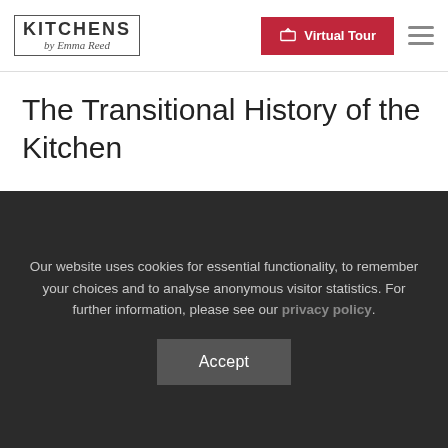KITCHENS by Emma Reed — Virtual Tour
The Transitional History of the Kitchen
Our website uses cookies for essential functionality, to remember your choices and to analyse anonymous visitor statistics. For further information, please see our privacy policy.
Accept